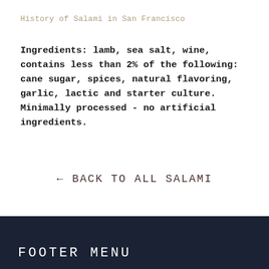History of Salami in San Francisco
Ingredients: lamb, sea salt, wine, contains less than 2% of the following: cane sugar, spices, natural flavoring, garlic, lactic and starter culture. Minimally processed - no artificial ingredients.
← BACK TO ALL SALAMI
FOOTER MENU